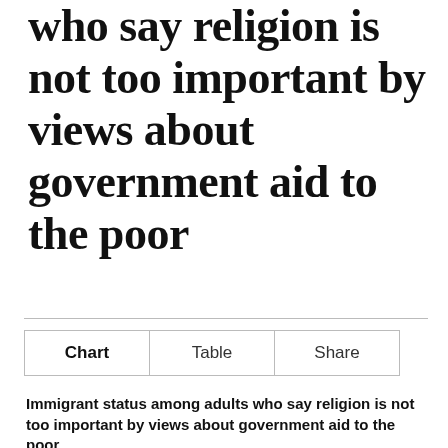…g who say religion is not too important by views about government aid to the poor
Chart | Table | Share
Immigrant status among adults who say religion is not too important by views about government aid to the poor